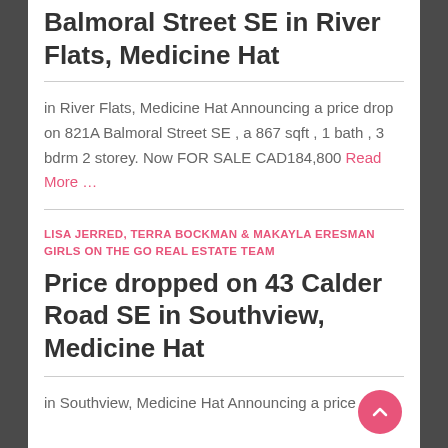Balmoral Street SE in River Flats, Medicine Hat
in River Flats, Medicine Hat Announcing a price drop on 821A Balmoral Street SE , a 867 sqft , 1 bath , 3 bdrm 2 storey. Now FOR SALE CAD184,800 Read More …
LISA JERRED, TERRA BOCKMAN & MAKAYLA ERESMAN GIRLS ON THE GO REAL ESTATE TEAM
Price dropped on 43 Calder Road SE in Southview, Medicine Hat
in Southview, Medicine Hat Announcing a price